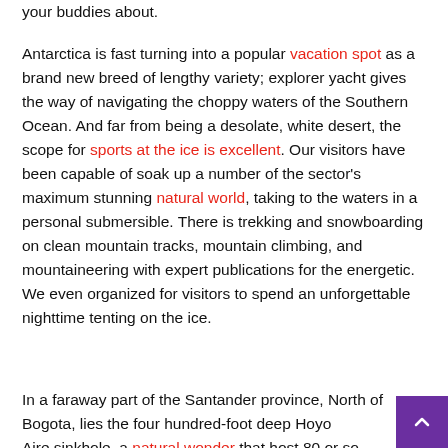your buddies about.
Antarctica is fast turning into a popular vacation spot as a brand new breed of lengthy variety; explorer yacht gives the way of navigating the choppy waters of the Southern Ocean. And far from being a desolate, white desert, the scope for sports at the ice is excellent. Our visitors have been capable of soak up a number of the sector's maximum stunning natural world, taking to the waters in a personal submersible. There is trekking and snowboarding on clean mountain tracks, mountain climbing, and mountaineering with expert publications for the energetic. We even organized for visitors to spend an unforgettable nighttime tenting on the ice.
In a faraway part of the Santander province, North of Bogota, lies the four hundred-foot deep Hoyo Aire sinkhole, a natural wonder that host 80 or so...